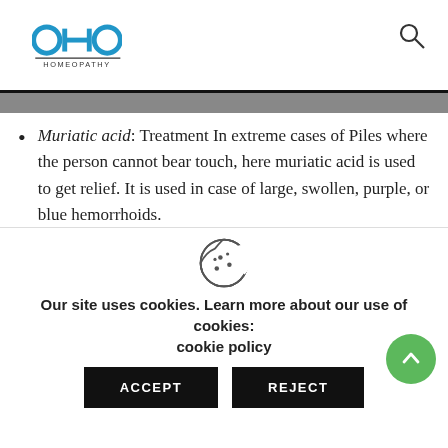OHO HOMEOPATHY
Muriatic acid: Treatment In extreme cases of Piles where the person cannot bear touch, here muriatic acid is used to get relief. It is used in case of large, swollen, purple, or blue hemorrhoids.
Ratanhia: Ratanhia is the best homeopathic remedy for piles. This remedy is beneficial for pain piles while passing stool. Stitching type of pain while passing stool.
Our site uses cookies. Learn more about our use of cookies: cookie policy
ACCEPT   REJECT